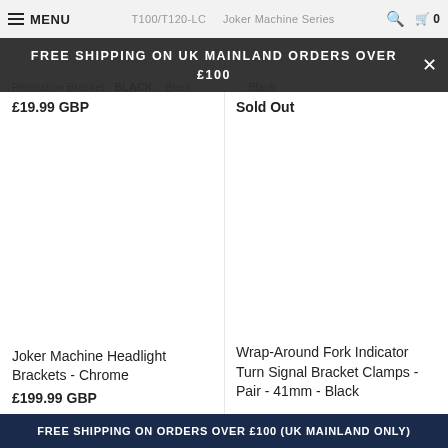MENU | T100/T120-LC | Joker Machine Series | 🔍 🛒 0
FREE SHIPPING ON UK MAINLAND ORDERS OVER £100
Relocation Bracket - BLACK ... Black
£19.99 GBP
Sold Out
Joker Machine Headlight Brackets - Chrome
£199.99 GBP
Wrap-Around Fork Indicator Turn Signal Bracket Clamps - Pair - 41mm - Black
FREE SHIPPING ON ORDERS OVER £100 (UK MAINLAND ONLY)